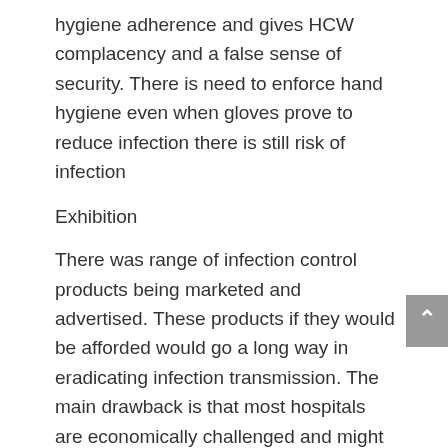hygiene adherence and gives HCW complacency and a false sense of security. There is need to enforce hand hygiene even when gloves prove to reduce infection there is still risk of infection
Exhibition
There was range of infection control products being marketed and advertised. These products if they would be afforded would go a long way in eradicating infection transmission. The main drawback is that most hospitals are economically challenged and might not be able to sustain procurement and use of such product. There are some hospitals which are using those products and they are able to procure through funders. But the disadvantage is as soon as funders pull out sustainability becomes a problem. Amazing products such bed pans and urinaries which have absorbents which will...